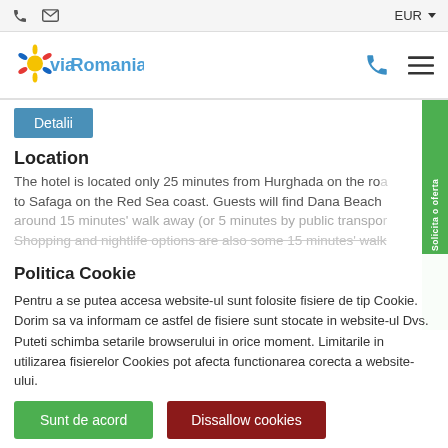phone | mail | EUR ▾
[Figure (logo): ViaRomania logo with colorful sun icon and blue text]
Detalii
Location
The hotel is located only 25 minutes from Hurghada on the road to Safaga on the Red Sea coast. Guests will find Dana Beach around 15 minutes' walk away (or 5 minutes by public transport). Shopping and nightlife options are also some 15 minutes' walk...
Politica Cookie
Pentru a se putea accesa website-ul sunt folosite fisiere de tip Cookie. Dorim sa va informam ce astfel de fisiere sunt stocate in website-ul Dvs.
Puteti schimba setarile browserului in orice moment. Limitarile in utilizarea fisierelor Cookies pot afecta functionarea corecta a website-ului.
Sunt de acord | Dissallow cookies